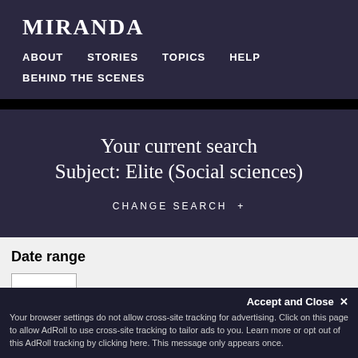MIRANDA
ABOUT   STORIES   TOPICS   HELP   BEHIND THE SCENES
Your current search
Subject: Elite (Social sciences)
CHANGE SEARCH +
Date range
Accept and Close ✕
Your browser settings do not allow cross-site tracking for advertising. Click on this page to allow AdRoll to use cross-site tracking to tailor ads to you. Learn more or opt out of this AdRoll tracking by clicking here. This message only appears once.